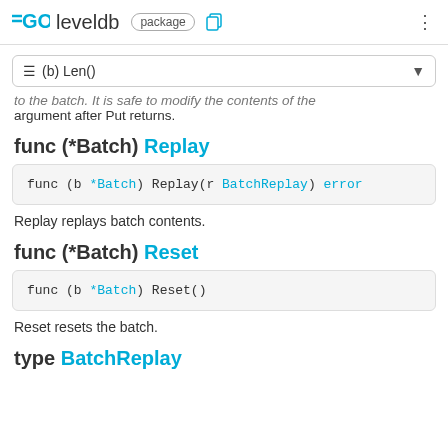GO leveldb package
≡ (b) Len()
to the batch. It is safe to modify the contents of the argument after Put returns.
func (*Batch) Replay
func (b *Batch) Replay(r BatchReplay) error
Replay replays batch contents.
func (*Batch) Reset
func (b *Batch) Reset()
Reset resets the batch.
type BatchReplay